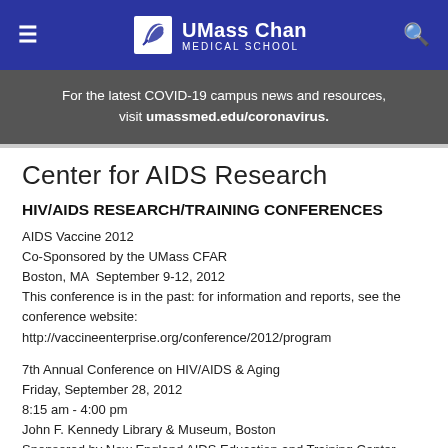UMass Chan Medical School
For the latest COVID-19 campus news and resources, visit umassmed.edu/coronavirus.
Center for AIDS Research
HIV/AIDS RESEARCH/TRAINING CONFERENCES
AIDS Vaccine 2012
Co-Sponsored by the UMass CFAR
Boston, MA  September 9-12, 2012
This conference is in the past: for information and reports, see the conference website:
http://vaccineenterprise.org/conference/2012/program
7th Annual Conference on HIV/AIDS & Aging
Friday, September 28, 2012
8:15 am - 4:00 pm
John F. Kennedy Library & Museum, Boston
Sponsored by New England AIDS Education and Training Center